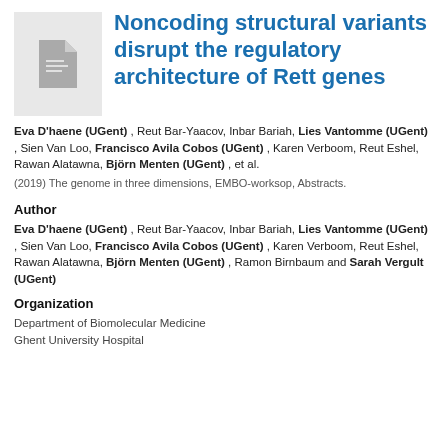[Figure (other): Document thumbnail icon showing a generic file/paper icon on a light grey background]
Noncoding structural variants disrupt the regulatory architecture of Rett genes
Eva D'haene (UGent) , Reut Bar-Yaacov, Inbar Bariah, Lies Vantomme (UGent) , Sien Van Loo, Francisco Avila Cobos (UGent) , Karen Verboom, Reut Eshel, Rawan Alatawna, Björn Menten (UGent) , et al.
(2019) The genome in three dimensions, EMBO-worksop, Abstracts.
Author
Eva D'haene (UGent) , Reut Bar-Yaacov, Inbar Bariah, Lies Vantomme (UGent) , Sien Van Loo, Francisco Avila Cobos (UGent) , Karen Verboom, Reut Eshel, Rawan Alatawna, Björn Menten (UGent) , Ramon Birnbaum and Sarah Vergult (UGent)
Organization
Department of Biomolecular Medicine
Ghent University Hospital